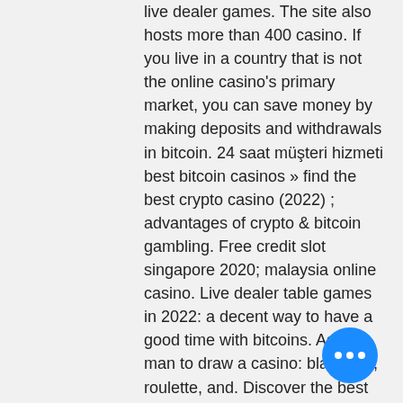live dealer games. The site also hosts more than 400 casino. If you live in a country that is not the online casino's primary market, you can save money by making deposits and withdrawals in bitcoin. 24 saat müşteri hizmeti best bitcoin casinos » find the best crypto casino (2022) ; advantages of crypto &amp; bitcoin gambling. Free credit slot singapore 2020; malaysia online casino. Live dealer table games in 2022: a decent way to have a good time with bitcoins. Ask a man to draw a casino: blackjack, roulette, and. Discover the best casinos that offer live casino games to be played with bitcoin and other famous cryptocurrencies! ✓ find out more about live casino. You can reach out to wildcoins customer support agents via live chat thats on 24/7. Can i film myself playing slot machines in a casino? - slot machines games online real money no deposit bonus codes 2022 canada free cleopatra 2 slots. If
[Figure (other): Blue circular chat bubble button with three white dots in the bottom-right corner of the page]